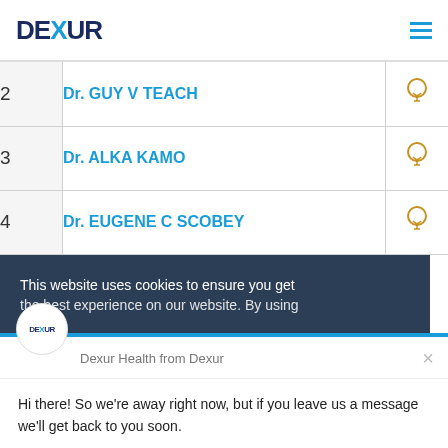DEXUR
| # | Name | Info |
| --- | --- | --- |
| 2 | Dr. GUY V TEACH | 💡 |
| 3 | Dr. ALKA KAMO | 💡 |
| 4 | Dr. EUGENE C SCOBEY | 💡 |
This website uses cookies to ensure you get the best experience on our website. By using
Dexur Health from Dexur
Hi there! So we're away right now, but if you leave us a message we'll get back to you soon.
Reply to Dexur Health
Chat ⚡ by Drift